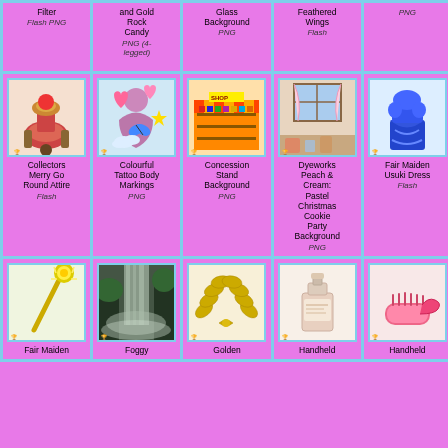| Col1 | Col2 | Col3 | Col4 | Col5 |
| --- | --- | --- | --- | --- |
| Filter
Flash PNG | and Gold
Rock Candy
PNG (4-legged) | Glass
Background
PNG | Feathered
Wings
Flash | PNG |
| Collectors
Merry Go
Round Attire
Flash | Colourful
Tattoo Body
Markings
PNG | Concession
Stand
Background
PNG | Dyeworks
Peach & Cream:
Pastel Christmas
Cookie Party
Background
PNG | Fair Maiden
Usuki Dress
Flash |
| Fair Maiden | Foggy | Golden | Handheld | Handheld |